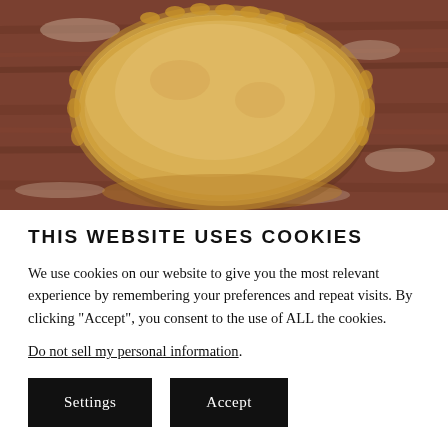[Figure (photo): A round pie dough / pastry disc resting on a floured wooden surface, photographed from above.]
THIS WEBSITE USES COOKIES
We use cookies on our website to give you the most relevant experience by remembering your preferences and repeat visits. By clicking “Accept”, you consent to the use of ALL the cookies.
Do not sell my personal information.
Settings  Accept